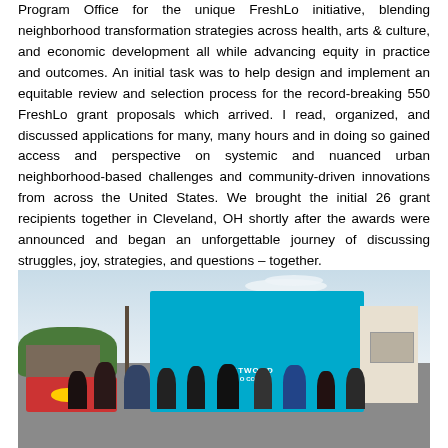Program Office for the unique FreshLo initiative, blending neighborhood transformation strategies across health, arts & culture, and economic development all while advancing equity in practice and outcomes. An initial task was to help design and implement an equitable review and selection process for the record-breaking 550 FreshLo grant proposals which arrived. I read, organized, and discussed applications for many, many hours and in doing so gained access and perspective on systemic and nuanced urban neighborhood-based challenges and community-driven innovations from across the United States. We brought the initial 26 grant recipients together in Cleveland, OH shortly after the awards were announced and began an unforgettable journey of discussing struggles, joy, strategies, and questions – together.
[Figure (photo): Outdoor scene with people gathered in front of a large teal/cyan painted building with a 'Westwood Co-op' sign. Left side shows a colorful market stall area with red structure and yellow element, green foliage, and a utility pole. Right side shows a white/beige building. Sky is partly cloudy.]